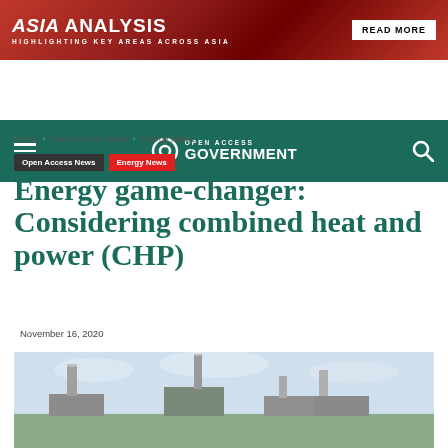[Figure (infographic): Asia Analysis banner ad with red gradient background, bold white text reading ASIA ANALYSIS / HIGHLIGHTING KEY AREAS ACROSS ASIA, and a READ MORE button on the right]
[Figure (infographic): Open Access Government navigation bar with teal/dark green background, hamburger menu icon on left, padlock logo with OPEN ACCESS GOVERNMENT text in center, and search icon on right]
Home › Open Access News › Energy News
Open Access News   Energy News
Energy game-changer: Considering combined heat and power (CHP)
November 16, 2020
[Figure (photo): Industrial power plant with chimneys/cooling towers against a cloudy sky, partially cropped at bottom of page]